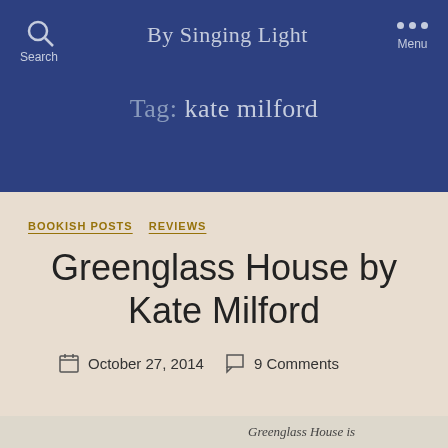By Singing Light
Tag: kate milford
BOOKISH POSTS   REVIEWS
Greenglass House by Kate Milford
October 27, 2014   9 Comments
Greenglass House is